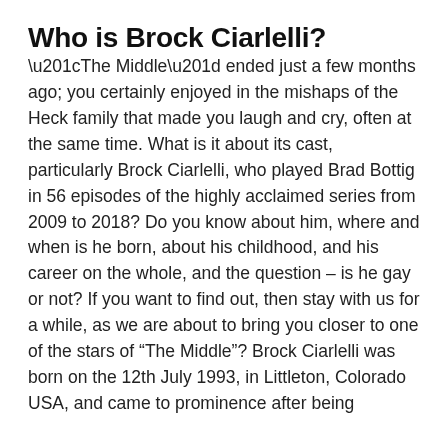Who is Brock Ciarlelli?
“The Middle” ended just a few months ago; you certainly enjoyed in the mishaps of the Heck family that made you laugh and cry, often at the same time. What is it about its cast, particularly Brock Ciarlelli, who played Brad Bottig in 56 episodes of the highly acclaimed series from 2009 to 2018? Do you know about him, where and when is he born, about his childhood, and his career on the whole, and the question – is he gay or not? If you want to find out, then stay with us for a while, as we are about to bring you closer to one of the stars of “The Middle”? Brock Ciarlelli was born on the 12th July 1993, in Littleton, Colorado USA, and came to prominence after being